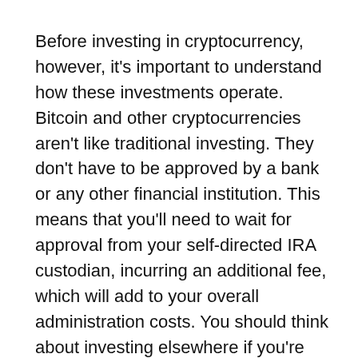Before investing in cryptocurrency, however, it's important to understand how these investments operate. Bitcoin and other cryptocurrencies aren't like traditional investing. They don't have to be approved by a bank or any other financial institution. This means that you'll need to wait for approval from your self-directed IRA custodian, incurring an additional fee, which will add to your overall administration costs. You should think about investing elsewhere if you're concerned about security.
Bitcoin IRA
There are many ways to invest in cryptocurrency including buying fractional shares and holding whole coins. You can start